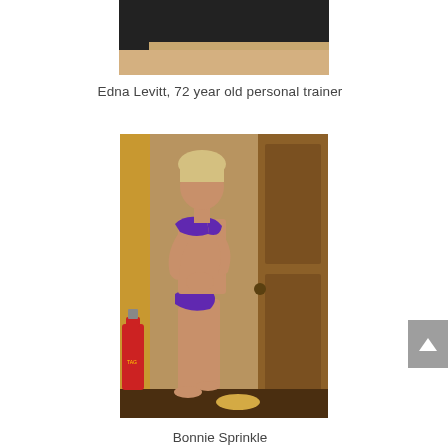[Figure (photo): Partial photo of Edna Levitt, 72 year old personal trainer, showing lower body in dark clothing on a wooden floor]
Edna Levitt, 72 year old personal trainer
[Figure (photo): Photo of Bonnie Sprinkle posing in a purple bikini in front of a wooden door, with a red fire extinguisher visible on the left]
Bonnie Sprinkle